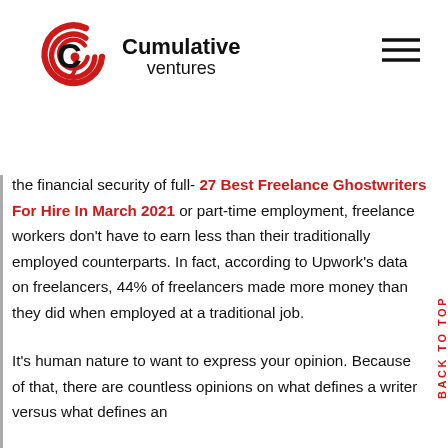Cumulative ventures
the financial security of full- 27 Best Freelance Ghostwriters For Hire In March 2021 or part-time employment, freelance workers don't have to earn less than their traditionally employed counterparts. In fact, according to Upwork's data on freelancers, 44% of freelancers made more money than they did when employed at a traditional job.
It's human nature to want to express your opinion. Because of that, there are countless opinions on what defines a writer versus what defines an